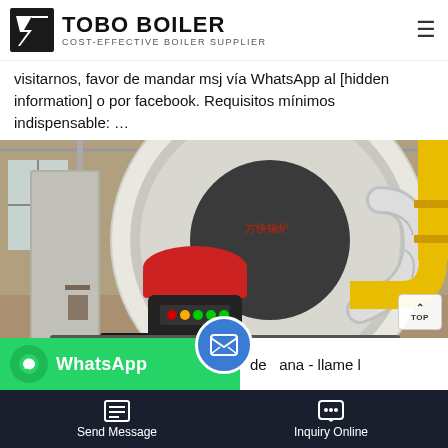TOBO BOILER — COST-EFFECTIVE BOILER SUPPLIER
visitarnos, favor de mandar msj vía WhatsApp al [hidden information] o por facebook. Requisitos mínimos indispensable: …
[Figure (photo): Industrial boiler unit in a warehouse setting, showing a large cylindrical steel boiler with a red and black burner mounted on the front, connected to yellow-painted gas pipes and silver insulated pipes on the right side. 'TOP' navigation button visible in lower right corner.]
WhatsApp   de ana - llame l
Send Message   Inquiry Online